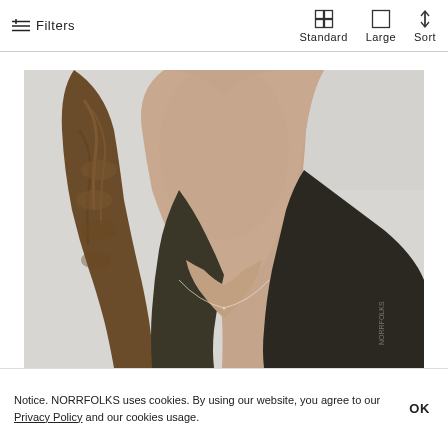Filters  Standard  Large  Sort
[Figure (photo): Close-up photo of a person's neck and décolletage, showing a delicate necklace, with dark jacket and braided hair visible. The model is wearing a thin chain necklace against a light grey background.]
Notice. NORRFOLKS uses cookies. By using our website, you agree to our Privacy Policy and our cookies usage.